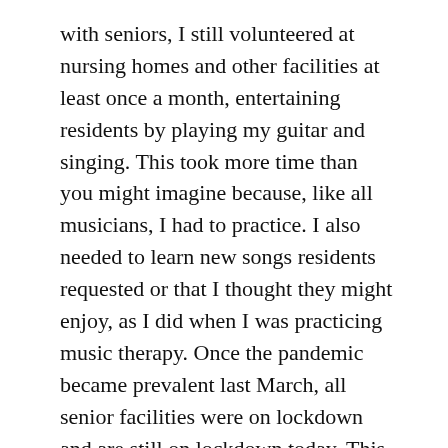with seniors, I still volunteered at nursing homes and other facilities at least once a month, entertaining residents by playing my guitar and singing. This took more time than you might imagine because, like all musicians, I had to practice. I also needed to learn new songs residents requested or that I thought they might enjoy, as I did when I was practicing music therapy. Once the pandemic became prevalent last March, all senior facilities were on lockdown and are still on lockdown today. This has given me more time to write.
During the first couple of months of restrictions, the local YMCA was closed. So, I couldn't attend water exercise classes, either. I